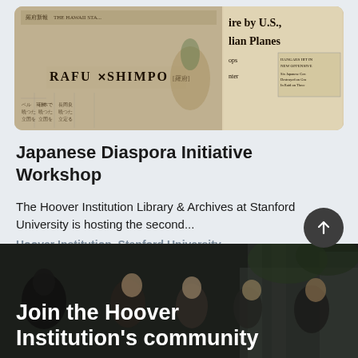[Figure (photo): Newspaper front pages including Rafu Shimpo Japanese-American newspaper and Hawaii newspaper, black and white archival photos]
Japanese Diaspora Initiative Workshop
The Hoover Institution Library & Archives at Stanford University is hosting the second...
Hoover Institution, Stanford University
[Figure (photo): Group of people standing outside a building, bottom section banner with text 'Join the Hoover Institution's community']